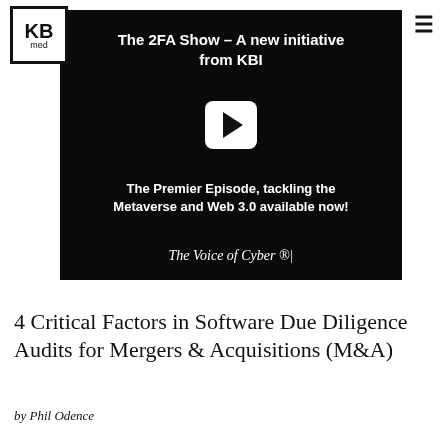KBI media
[Figure (screenshot): Black video thumbnail with YouTube play button. Title reads 'The 2FA Show – A new initiative from KBI'. Subtitle: 'The Premier Episode, tackling the Metaverse and Web 3.0 available now!' Tagline: 'The Voice of Cyber ®|']
4 Critical Factors in Software Due Diligence Audits for Mergers & Acquisitions (M&A)
by Phil Odence